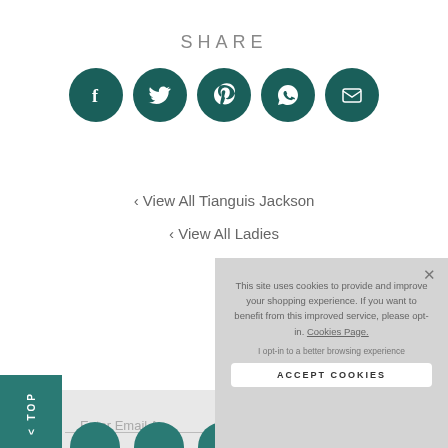SHARE
[Figure (infographic): Five teal circular social media share buttons: Facebook, Twitter, Pinterest, WhatsApp, Email]
‹ View All Tianguis Jackson
‹ View All Ladies
[Figure (screenshot): Cookie consent overlay with text: This site uses cookies to provide and improve your shopping experience. If you want to benefit from this improved service, please opt-in. Cookies Page. I opt-in to a better browsing experience. Button: ACCEPT COOKIES]
Enter Email A
To see how